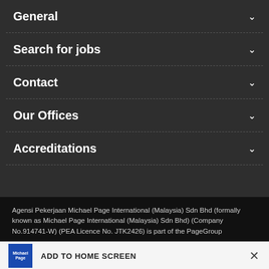General
Search for jobs
Contact
Our Offices
Accreditations
Agensi Pekerjaan Michael Page International (Malaysia) Sdn Bhd (formally known as Michael Page International (Malaysia) Sdn Bhd) (Company No.914741-W) (PEA Licence No. JTK2426) is part of the PageGroup
ADD TO HOME SCREEN